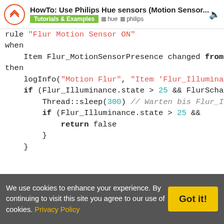HowTo: Use Philips Hue sensors (Motion Sensor... | Tutorials & Examples | hue | philips
rule "Flur Motion Sensor ON"
when
    Item Flur_MotionSensorPresence changed from
then
    logInfo("Motion Flur", "Item 'Flur_Illumina
    if (Flur_Illuminance.state > 25 && FlurScha
        Thread::sleep(300) // Warten bis Flur_I
        if (Flur_Illuminance.state > 25 &&
            return false
        }
    }

    if((timerFlur === null || timerFlur.hasTerm
        logInfo("Motion Flur", "Licht war schon
        return false
We use cookies to enhance your experience. By continuing to visit this site you agree to our use of cookies. Privacy Policy